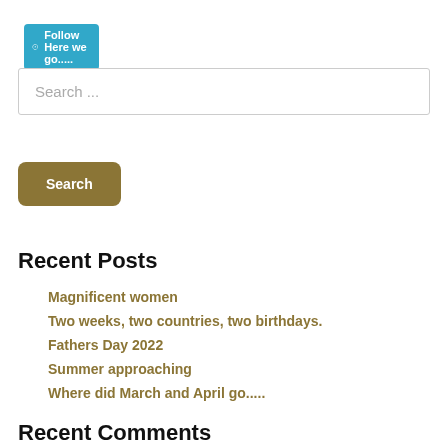[Figure (other): WordPress follow button with cyan background reading 'Follow Here we go.....']
Search ...
Search
Recent Posts
Magnificent women
Two weeks, two countries, two birthdays.
Fathers Day 2022
Summer approaching
Where did March and April go.....
Recent Comments